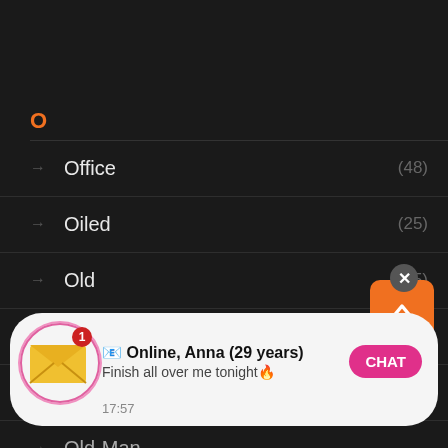O
Office (48)
Oiled (25)
Old (45)
Old-And-Young (892)
Old-Farts
Old-Man
Orgy (67)
Oriental (24)
[Figure (screenshot): Notification popup: envelope icon with badge '1', text 'Online, Anna (29 years)' / 'Finish all over me tonight', timestamp 17:57, pink CHAT button]
[Figure (other): Orange scroll-to-top button with up chevron, and close X circle]